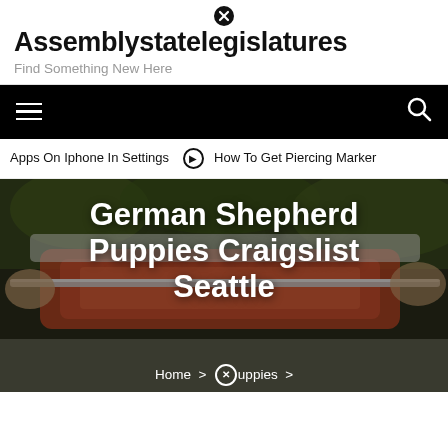Assemblystatelegislatures – Find Something New Here
[Figure (screenshot): Navigation bar with hamburger menu on left and search icon on right, black background]
Apps On Iphone In Settings  ❯  How To Get Piercing Marker
[Figure (photo): Hero image showing hands cutting salmon/fish with a knife on a surface, overlaid with bold white text 'German Shepherd Puppies Craigslist Seattle' and breadcrumb 'Home > Puppies >']